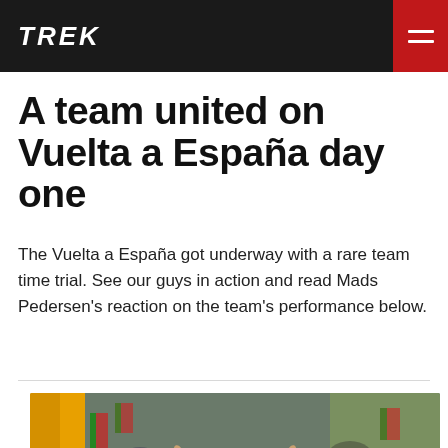TREK
A team united on Vuelta a España day one
The Vuelta a España got underway with a rare team time trial. See our guys in action and read Mads Pedersen's reaction on the team's performance below.
[Figure (photo): A cyclist in a green, white and red Trek-Segafredo jersey with arms raised in victory, crowd with Italian flags in the background.]